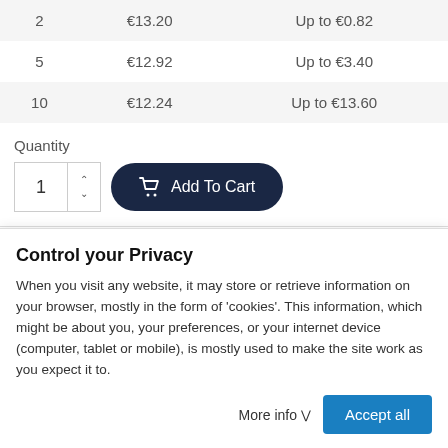| Quantity | Price | Savings |
| --- | --- | --- |
| 2 | €13.20 | Up to €0.82 |
| 5 | €12.92 | Up to €3.40 |
| 10 | €12.24 | Up to €13.60 |
Quantity
[Figure (screenshot): Quantity selector with increment/decrement arrows and Add To Cart button]
Share
[Figure (screenshot): Social share icons: Facebook, Twitter, Pinterest]
Control your Privacy
When you visit any website, it may store or retrieve information on your browser, mostly in the form of 'cookies'. This information, which might be about you, your preferences, or your internet device (computer, tablet or mobile), is mostly used to make the site work as you expect it to.
More info  Accept all